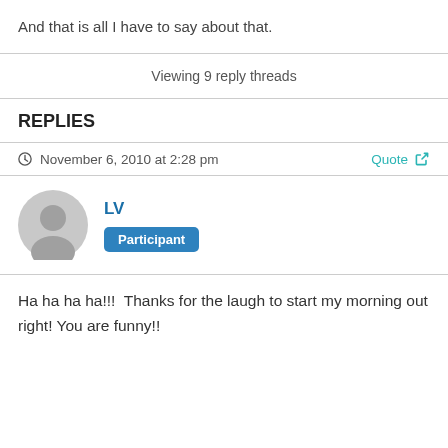And that is all I have to say about that.
Viewing 9 reply threads
REPLIES
November 6, 2010 at 2:28 pm
LV
Participant
Ha ha ha ha!!!  Thanks for the laugh to start my morning out right! You are funny!!